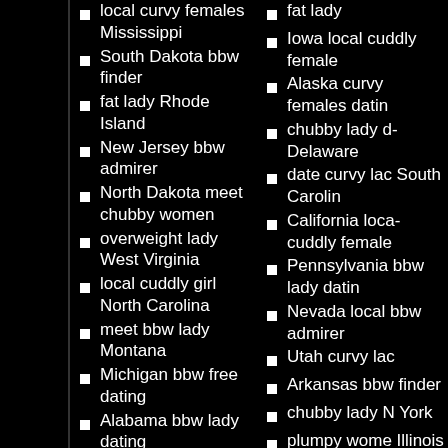local curvy females Mississippi
South Dakota bbw finder
fat lady Rhode Island
New Jersey bbw admirer
North Dakota meet chubby women
overweight lady West Virginia
local cuddly girl North Carolina
meet bbw lady Montana
Michigan bbw free dating
Alabama bbw lady dating
find big females Georgia
fat lady
Iowa local cuddly female
Alaska curvy females dating
chubby lady Delaware
date curvy lady South Carolina
California local cuddly females
Pennsylvania bbw lady dating
Nevada local bbw admirer
Utah curvy lady
Arkansas bbw finder
chubby lady New York
plumpy women Illinois
date bbw lady Massachusetts